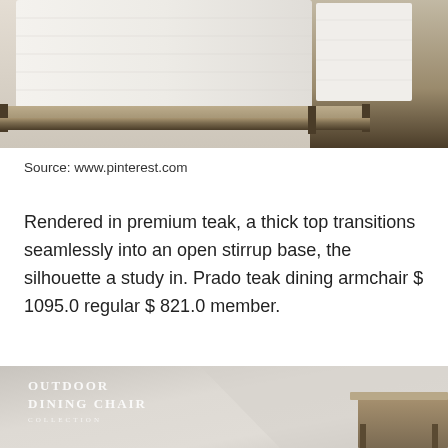[Figure (photo): Close-up photo of a chair with white upholstered cushion on a wooden teak base with bronze/dark trim, viewed from below at an angle, showing the base and lower portion of the seat on a neutral background.]
Source: www.pinterest.com
Rendered in premium teak, a thick top transitions seamlessly into an open stirrup base, the silhouette a study in. Prado teak dining armchair $ 1095.0 regular $ 821.0 member.
[Figure (photo): Partial photo showing an 'OUTDOOR DINING CHAIR COLLECTION' catalog page with white overlay text on a light gray background, with partial view of furniture in the lower right corner.]